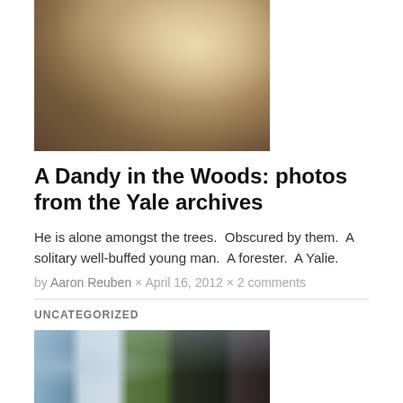[Figure (photo): Vintage sepia photograph of a person standing on a large rock amongst trees in a wooded area]
A Dandy in the Woods: photos from the Yale archives
He is alone amongst the trees.  Obscured by them.  A solitary well-buffed young man.  A forester.  A Yalie.
by Aaron Reuben × April 16, 2012 × 2 comments
UNCATEGORIZED
[Figure (photo): Photograph of a modern glass building exterior with trees visible in the reflection and background]